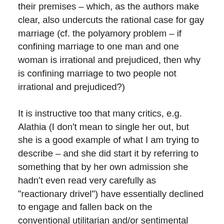their premises – which, as the authors make clear, also undercuts the rational case for gay marriage (cf. the polyamory problem – if confining marriage to one man and one woman is irrational and prejudiced, then why is confining marriage to two people not irrational and prejudiced?)
It is instructive too that many critics, e.g. Alathia (I don't mean to single her out, but she is a good example of what I am trying to describe – and she did start it by referring to something that by her own admission she hadn't even read very carefully as "reactionary drivel") have essentially declined to engage and fallen back on the conventional utilitarian and/or sentimental justifications for SSM; "this works for me", "this feels good to me", "this makes people happy".